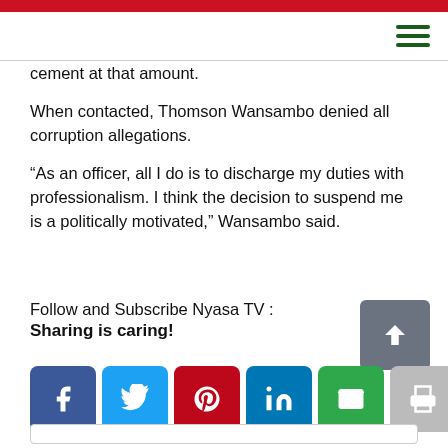cement at that amount.
When contacted, Thomson Wansambo denied all corruption allegations.
“As an officer, all I do is to discharge my duties with professionalism. I think the decision to suspend me is a politically motivated,” Wansambo said.
Follow and Subscribe Nyasa TV :
Sharing is caring!